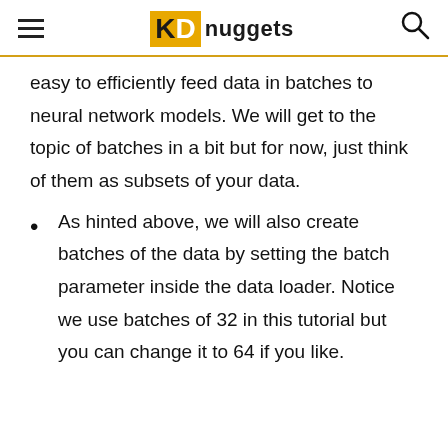KD nuggets
easy to efficiently feed data in batches to neural network models. We will get to the topic of batches in a bit but for now, just think of them as subsets of your data.
As hinted above, we will also create batches of the data by setting the batch parameter inside the data loader. Notice we use batches of 32 in this tutorial but you can change it to 64 if you like.